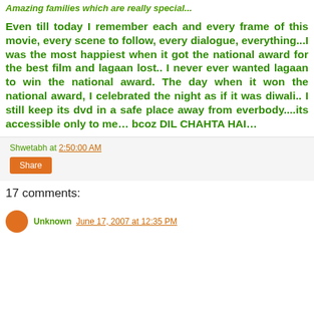Amazing families which are really special...
Even till today I remember each and every frame of this movie, every scene to follow, every dialogue, everything...I was the most happiest when it got the national award for the best film and lagaan lost.. I never ever wanted lagaan to win the national award. The day when it won the national award, I celebrated the night as if it was diwali.. I still keep its dvd in a safe place away from everbody....its accessible only to me… bcoz DIL CHAHTA HAI…
Shwetabh at 2:50:00 AM
Share
17 comments:
Unknown  June 17, 2007 at 12:35 PM